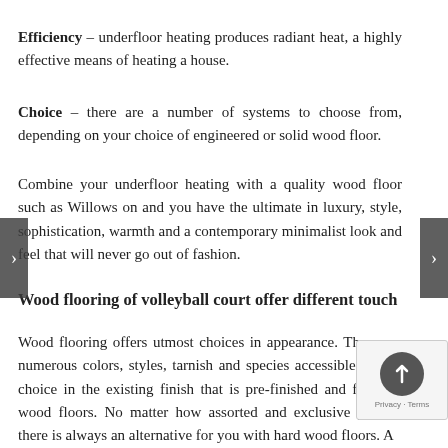Efficiency – underfloor heating produces radiant heat, a highly effective means of heating a house.
Choice – there are a number of systems to choose from, depending on your choice of engineered or solid wood floor.
Combine your underfloor heating with a quality wood floor such as Willows on and you have the ultimate in luxury, style, sophistication, warmth and a contemporary minimalist look and feel that will never go out of fashion.
Wood flooring of volleyball court offer different touch
Wood flooring offers utmost choices in appearance. There are numerous colors, styles, tarnish and species accessible. A is a choice in the existing finish that is pre-finished and fra hard wood floors. No matter how assorted and exclusive yo are, there is always an alternative for you with hard wood floors. A